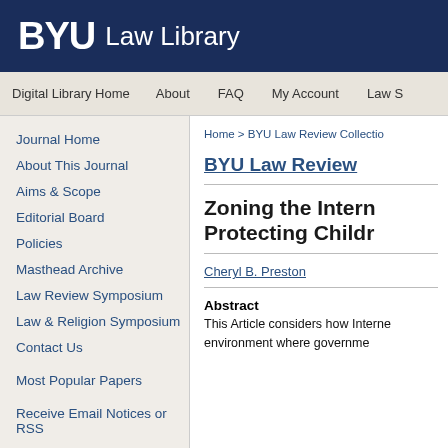BYU Law Library
Digital Library Home | About | FAQ | My Account | Law S
Journal Home
About This Journal
Aims & Scope
Editorial Board
Policies
Masthead Archive
Law Review Symposium
Law & Religion Symposium
Contact Us
Most Popular Papers
Receive Email Notices or RSS
Home > BYU Law Review Collectio
BYU Law Review
Zoning the Intern Protecting Childr
Cheryl B. Preston
Abstract
This Article considers how Interne environment where governme